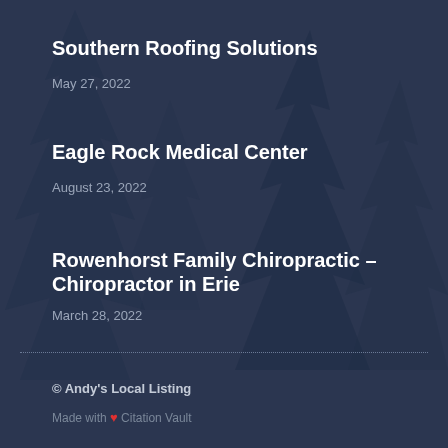Southern Roofing Solutions
May 27, 2022
Eagle Rock Medical Center
August 23, 2022
Rowenhorst Family Chiropractic – Chiropractor in Erie
March 28, 2022
© Andy's Local Listing
Made with ❤ Citation Vault